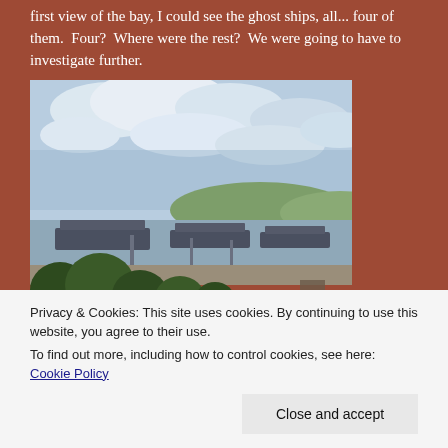first view of the bay, I could see the ghost ships, all... four of them.  Four?  Where were the rest?  We were going to have to investigate further.
[Figure (photo): A bay landscape photograph showing large ships moored in the water, with green hills in the background, a cloudy sky above, and vegetation and industrial structures in the foreground.]
Privacy & Cookies: This site uses cookies. By continuing to use this website, you agree to their use.
To find out more, including how to control cookies, see here: Cookie Policy